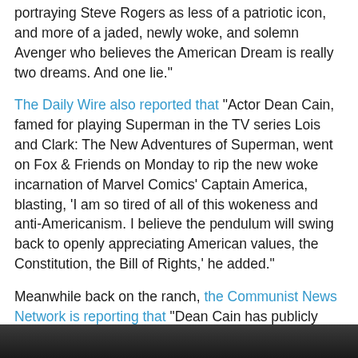portraying Steve Rogers as less of a patriotic icon, and more of a jaded, newly woke, and solemn Avenger who believes the American Dream is really two dreams. And one lie."
The Daily Wire also reported that "Actor Dean Cain, famed for playing Superman in the TV series Lois and Clark: The New Adventures of Superman, went on Fox & Friends on Monday to rip the new woke incarnation of Marvel Comics' Captain America, blasting, 'I am so tired of all of this wokeness and anti-Americanism. I believe the pendulum will swing back to openly appreciating American values, the Constitution, the Bill of Rights,' he added."
Meanwhile back on the ranch, the Communist News Network is reporting that "Dean Cain has publicly condemned Marvel's newest version of Captain America, and Twitter is pushing back on his criticisms." AYFKM? Criticized by who? The Socialist Party again?
This shows us how ridiculous the mainstream media is and how worthless Disney has become.
[Figure (photo): Dark image strip at bottom of page, partially visible photograph]